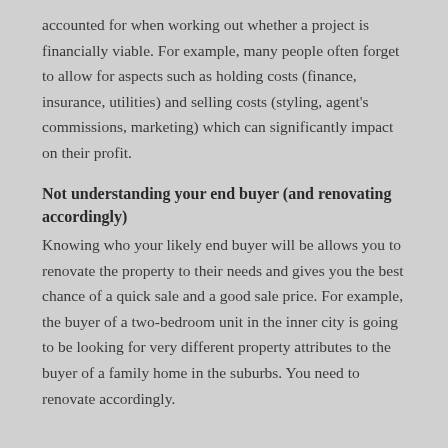accounted for when working out whether a project is financially viable. For example, many people often forget to allow for aspects such as holding costs (finance, insurance, utilities) and selling costs (styling, agent's commissions, marketing) which can significantly impact on their profit.
Not understanding your end buyer (and renovating accordingly)
Knowing who your likely end buyer will be allows you to renovate the property to their needs and gives you the best chance of a quick sale and a good sale price. For example, the buyer of a two-bedroom unit in the inner city is going to be looking for very different property attributes to the buyer of a family home in the suburbs. You need to renovate accordingly.